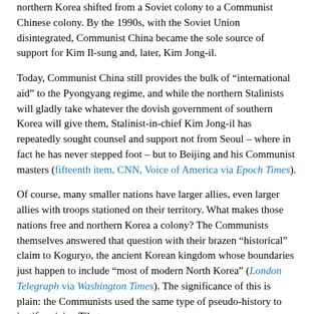northern Korea shifted from a Soviet colony to a Communist Chinese colony. By the 1990s, with the Soviet Union disintegrated, Communist China became the sole source of support for Kim Il-sung and, later, Kim Jong-il.
Today, Communist China still provides the bulk of “international aid” to the Pyongyang regime, and while the northern Stalinists will gladly take whatever the dovish government of southern Korea will give them, Stalinist-in-chief Kim Jong-il has repeatedly sought counsel and support not from Seoul – where in fact he has never stepped foot – but to Beijing and his Communist masters (fifteenth item, CNN, Voice of America via Epoch Times).
Of course, many smaller nations have larger allies, even larger allies with troops stationed on their territory. What makes those nations free and northern Korea a colony? The Communists themselves answered that question with their brazen “historical” claim to Koguryo, the ancient Korean kingdom whose boundaries just happen to include “most of modern North Korea” (London Telegraph via Washington Times). The significance of this is plain: the Communists used the same type of pseudo-history to justify seizing Tibet